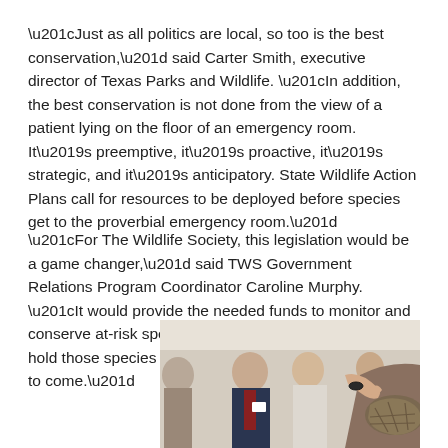“Just as all politics are local, so too is the best conservation,” said Carter Smith, executive director of Texas Parks and Wildlife. “In addition, the best conservation is not done from the view of a patient lying on the floor of an emergency room. It’s preemptive, it’s proactive, it’s strategic, and it’s anticipatory. State Wildlife Action Plans call for resources to be deployed before species get to the proverbial emergency room.”
“For The Wildlife Society, this legislation would be a game changer,” said TWS Government Relations Program Coordinator Caroline Murphy. “It would provide the needed funds to monitor and conserve at-risk species and for wildlife professionals to hold those species in the public trust for generations yet to come.”
[Figure (photo): A group of people standing indoors at what appears to be an event; a hand is shown touching what appears to be a turtle or tortoise shell in the foreground right.]